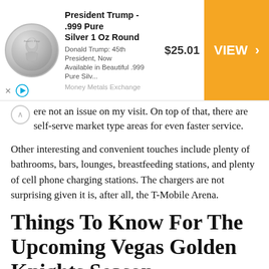[Figure (screenshot): Advertisement banner for President Trump .999 Pure Silver 1 Oz Round coin, showing coin image, price $25.01, and orange VIEW button with Money Metals Exchange branding]
ere not an issue on my visit. On top of that, there are self-serve market type areas for even faster service.
Other interesting and convenient touches include plenty of bathrooms, bars, lounges, breastfeeding stations, and plenty of cell phone charging stations. The chargers are not surprising given it is, after all, the T-Mobile Arena.
Things To Know For The Upcoming Vegas Golden Knights Season
From fresh faces, to old policies, we're ready for